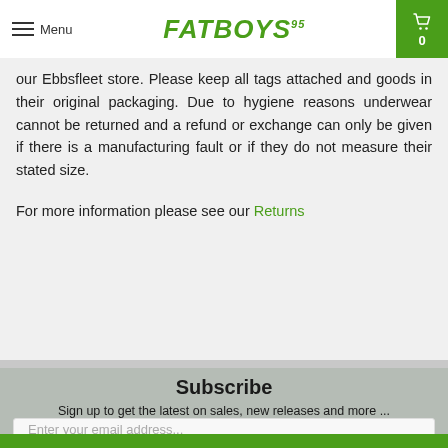Menu  FATBOYS95  0
our Ebbsfleet store. Please keep all tags attached and goods in their original packaging. Due to hygiene reasons underwear cannot be returned and a refund or exchange can only be given if there is a manufacturing fault or if they do not measure their stated size.
For more information please see our Returns
Subscribe
Sign up to get the latest on sales, new releases and more ...
Enter your email address...